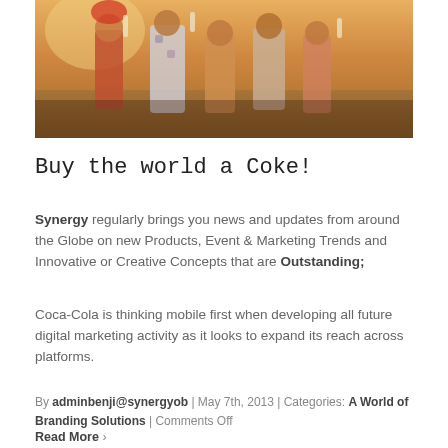[Figure (photo): Photograph of people holding up bottles (likely Coca-Cola) in a field at sunset/golden hour, warm orange tones]
Buy the world a Coke!
Synergy regularly brings you news and updates from around the Globe on new Products, Event & Marketing Trends and Innovative or Creative Concepts that are Outstanding;
Coca-Cola is thinking mobile first when developing all future digital marketing activity as it looks to expand its reach across platforms.
By adminbenji@synergyob | May 7th, 2013 | Categories: A World of Branding Solutions | Comments Off
Read More >